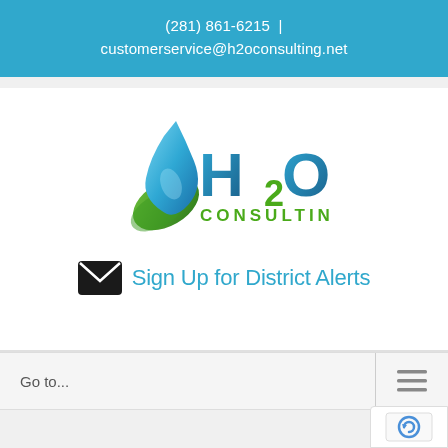(281) 861-6215  |  customerservice@h2oconsulting.net
[Figure (logo): H2O Consulting logo with blue water drop and green leaf, stylized H2O letters in blue gradient and 'CONSULTING' text in green]
Sign Up for District Alerts
Go to...